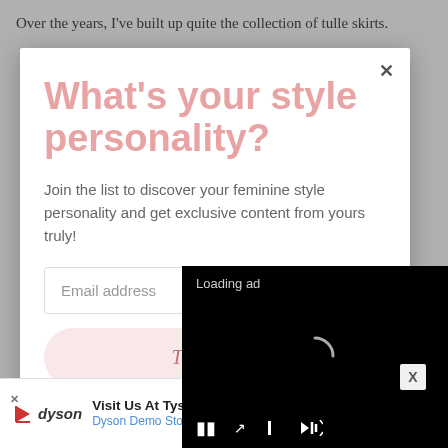Over the years, I've built up quite the collection of tulle skirts.
[Figure (screenshot): Modal popup with style quiz prompt overlay on a blog page, with a video ad overlay and a Dyson banner ad at the bottom]
What's your style personality?
Join the list to discover your feminine style personality and get exclusive content from yours truly!
Email address
Take the Quiz!
Loading ad
Visit Us At Tyson's Corner
Dyson Demo Store